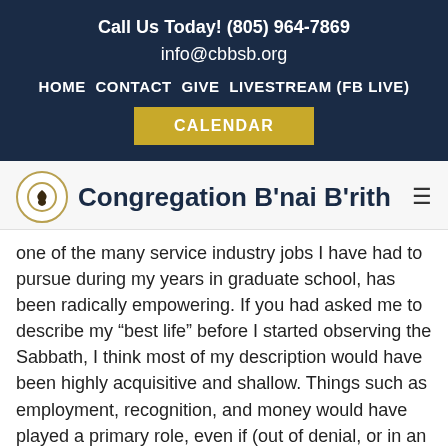Call Us Today! (805) 964-7869
info@cbbsb.org
HOME  CONTACT  GIVE  LIVESTREAM (FB LIVE)
CALENDAR
Congregation B'nai B'rith
one of the many service industry jobs I have had to pursue during my years in graduate school, has been radically empowering. If you had asked me to describe my “best life” before I started observing the Sabbath, I think most of my description would have been highly acquisitive and shallow. Things such as employment, recognition, and money would have played a primary role, even if (out of denial, or in an attempt to be tasteful) I attempted to downplay their importance. The Jewish